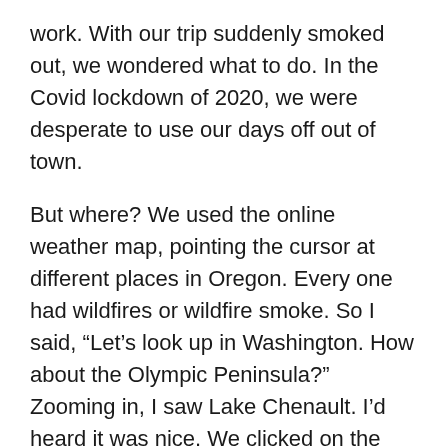work. With our trip suddenly smoked out, we wondered what to do. In the Covid lockdown of 2020, we were desperate to use our days off out of town.
But where? We used the online weather map, pointing the cursor at different places in Oregon. Every one had wildfires or wildfire smoke. So I said, “Let’s look up in Washington. How about the Olympic Peninsula?” Zooming in, I saw Lake Chenault. I’d heard it was nice. We clicked on the lake. The forecast? Sunny, no wind, and most importantly, no smoke! So, without reservations, we just picked up and drove up there. It has several campgrounds. We checked out one of them, and found a guy leaving his site. Turned out he had a 3-day reservation and was leaving after day 1. The Park Ranger came by. He said, “Why don’t you just take it.” With that, we had a FREE campsite! Tall redwoods/giant cedar! We had the